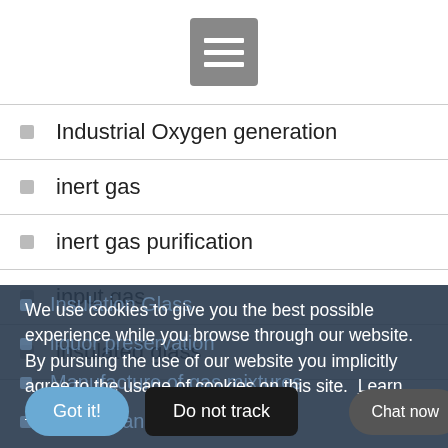[Figure (other): Gray hamburger menu icon button with three white horizontal lines on a square gray background]
Industrial Oxygen generation
inert gas
inert gas purification
input gas
insulated glass
We use cookies to give you the best possible experience while you browse through our website. By pursuing the use of our website you implicitly agree to the usage of cookies on this site.  Learn More
Got it!  Do not track  Chat now